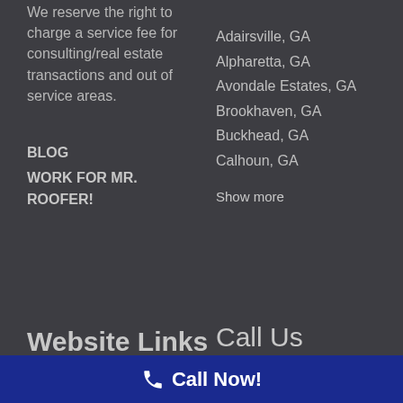We reserve the right to charge a service fee for consulting/real estate transactions and out of service areas.
BLOG
WORK FOR MR. ROOFER!
Adairsville, GA
Alpharetta, GA
Avondale Estates, GA
Brookhaven, GA
Buckhead, GA
Calhoun, GA
Show more
Website Links
Call Us
Call Now!